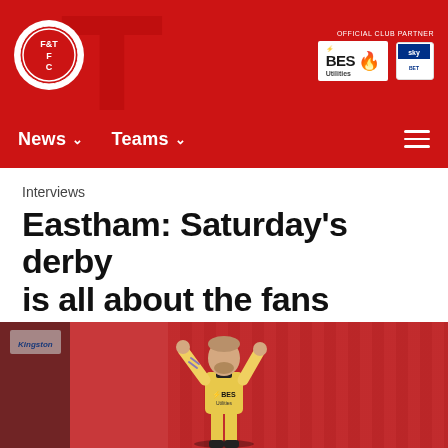Fleetwood Town FC official website header with logo and BES Utilities club partner branding
News  Teams
Interviews
Eastham: Saturday's derby is all about the fans
25 October 2018
[Figure (photo): Football player wearing a yellow BES Utilities Fleetwood Town away kit, arms raised applauding fans, standing in a stadium with red seats visible in background]